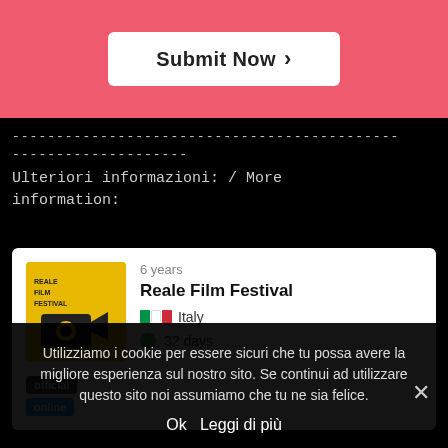[Figure (screenshot): Red banner with 'Submit Now >' button in white rounded rectangle]
--------------------------------------------
--------------------
Ulteriori informazioni: / More
information:
[Figure (infographic): Card showing Reale Film Festival: yellow logo, 6 years, Italy flag, official and online badges, 32 days remaining with green dot]
Utilizziamo i cookie per essere sicuri che tu possa avere la migliore esperienza sul nostro sito. Se continui ad utilizzare questo sito noi assumiamo che tu ne sia felice.
Ok   Leggi di più